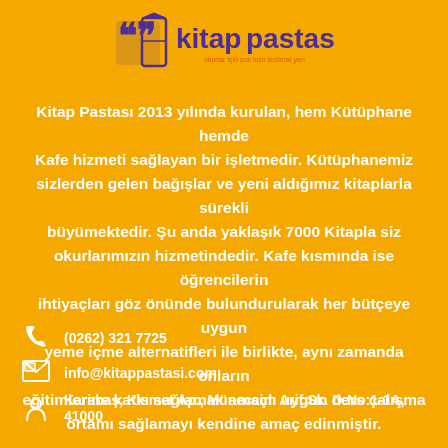[Figure (logo): Kitap Pastası logo with stylized book/cat icon and text]
Kitap Pastası 2013 yılında kurulan, hem Kütüphane hemde Kafe hizmeti sağlayan bir işletmedir. Kütüphanemiz sizlerden gelen bağışlar ve yeni aldığımız kitaplarla sürekli büyümektedir. Şu anda yaklaşık 7000 Kitapla siz okurlarımızın hizmetindedir. Kafe kısmında ise öğrencilerin ihtiyaçları göz önünde bulundurularak her bütçeye uygun yeme içme alternatifleri ile birlikte, aynı zamanda onların eğitimlerine katkı sağlamak amaçlı uygun ders çalışma ortamı sağlamayı kendine amaç edinmiştir.
(0262) 321 7725
info@kitappastasi.com
Karabaş, Kısmet Ap., Müneccim Arif Sk. D:No:1-1A, 41000